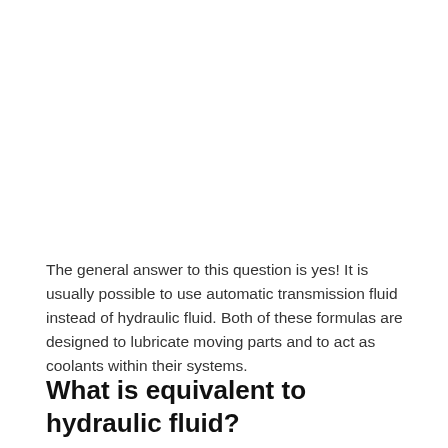The general answer to this question is yes! It is usually possible to use automatic transmission fluid instead of hydraulic fluid. Both of these formulas are designed to lubricate moving parts and to act as coolants within their systems.
What is equivalent to hydraulic fluid?